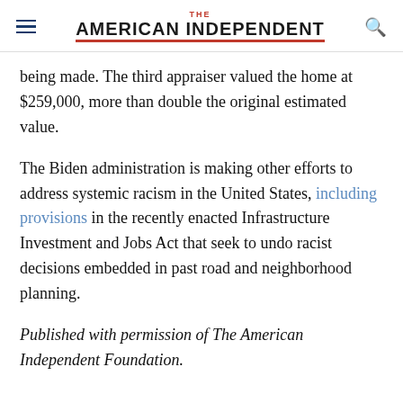THE AMERICAN INDEPENDENT
being made. The third appraiser valued the home at $259,000, more than double the original estimated value.
The Biden administration is making other efforts to address systemic racism in the United States, including provisions in the recently enacted Infrastructure Investment and Jobs Act that seek to undo racist decisions embedded in past road and neighborhood planning.
Published with permission of The American Independent Foundation.
Taboola Feed
[Figure (photo): Bottom partial image of an object with blue plastic wrapping, appearing to be a mirror or round item against a wall.]